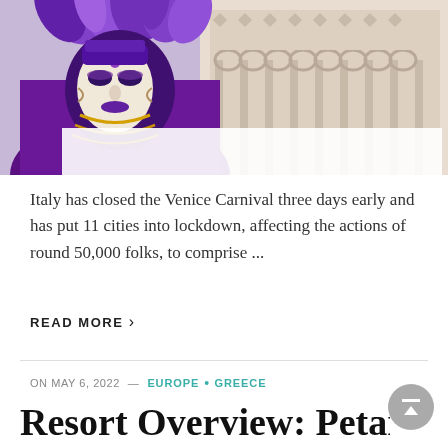[Figure (photo): A person wearing an elaborate purple Venetian carnival mask with purple feathers, gold decorations, and beaded necklaces, standing in front of the ornate Gothic architecture of the Doge's Palace in Venice, Italy.]
Italy has closed the Venice Carnival three days early and has put 11 cities into lockdown, affecting the actions of round 50,000 folks, to comprise ...
READ MORE ›
ON MAY 6, 2022 — EUROPE • GREECE
Resort Overview: Petani